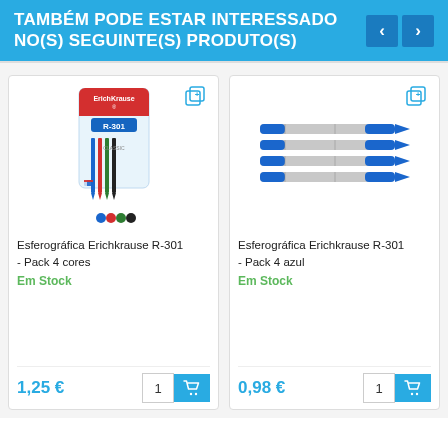TAMBÉM PODE ESTAR INTERESSADO NO(S) SEGUINTE(S) PRODUTO(S)
[Figure (photo): ErichKrause R-301 4-color ballpoint pen pack with blue, red, green, black pens]
Esferográfica Erichkrause R-301 - Pack 4 cores
Em Stock
1,25 €
[Figure (photo): ErichKrause R-301 pack of 4 blue ballpoint pens laid side by side]
Esferográfica Erichkrause R-301 - Pack 4 azul
Em Stock
0,98 €